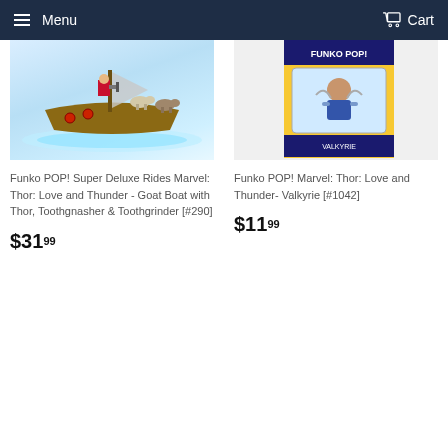Menu  Cart
[Figure (photo): Funko POP Super Deluxe Rides Marvel Thor Love and Thunder Goat Boat product image, partially cropped, showing a Viking-style boat with goats and Thor figure on a glowing base]
Funko POP! Super Deluxe Rides Marvel: Thor: Love and Thunder - Goat Boat with Thor, Toothgnasher & Toothgrinder [#290]
$31.99
[Figure (photo): Funko POP Marvel Thor Love and Thunder Valkyrie #1042 product in retail box, partially cropped, showing the figure and packaging]
Funko POP! Marvel: Thor: Love and Thunder- Valkyrie [#1042]
$11.99